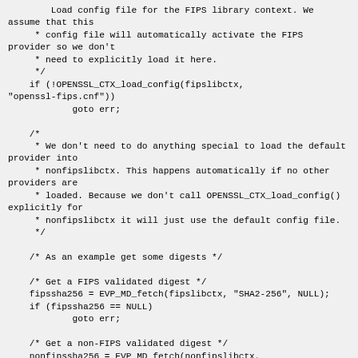Load config file for the FIPS library context. We assume that this
     * config file will automatically activate the FIPS provider so we don't
     * need to explicitly load it here.
     */
    if (!OPENSSL_CTX_load_config(fipslibctx, "openssl-fips.cnf"))
            goto err;

    /*
     * We don't need to do anything special to load the default provider into
     * nonfipslibctx. This happens automatically if no other providers are
     * loaded. Because we don't call OPENSSL_CTX_load_config() explicitly for
     * nonfipslibctx it will just use the default config file.
     */

    /* As an example get some digests */

    /* Get a FIPS validated digest */
    fipssha256 = EVP_MD_fetch(fipslibctx, "SHA2-256", NULL);
    if (fipssha256 == NULL)
            goto err;

    /* Get a non-FIPS validated digest */
    nonfipssha256 = EVP_MD_fetch(nonfipslibctx, "SHA2-256", NULL);
    if (nonfipssha256 == NULL)